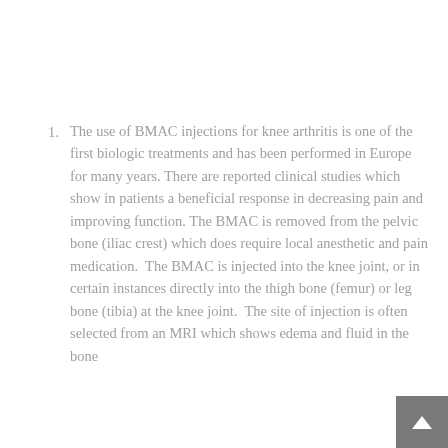The use of BMAC injections for knee arthritis is one of the first biologic treatments and has been performed in Europe for many years. There are reported clinical studies which show in patients a beneficial response in decreasing pain and improving function. The BMAC is removed from the pelvic bone (iliac crest) which does require local anesthetic and pain medication. The BMAC is injected into the knee joint, or in certain instances directly into the thigh bone (femur) or leg bone (tibia) at the knee joint. The site of injection is often selected from an MRI which shows edema and fluid in the bone